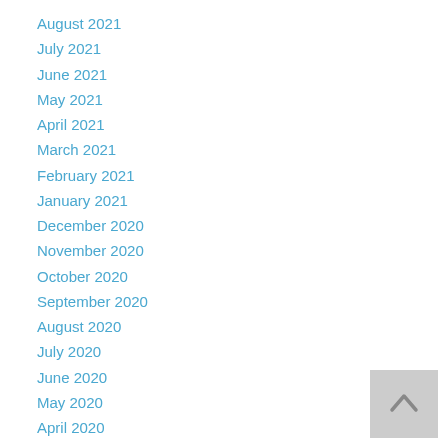August 2021
July 2021
June 2021
May 2021
April 2021
March 2021
February 2021
January 2021
December 2020
November 2020
October 2020
September 2020
August 2020
July 2020
June 2020
May 2020
April 2020